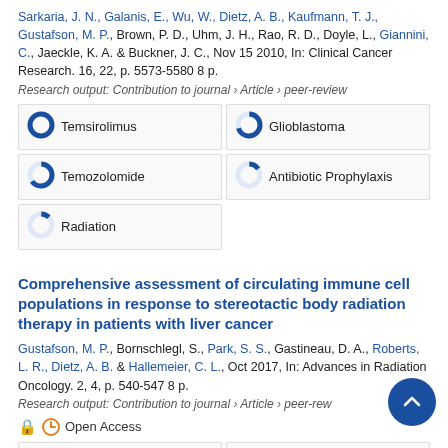Sarkaria, J. N., Galanis, E., Wu, W., Dietz, A. B., Kaufmann, T. J., Gustafson, M. P., Brown, P. D., Uhm, J. H., Rao, R. D., Doyle, L., Giannini, C., Jaeckle, K. A. & Buckner, J. C., Nov 15 2010, In: Clinical Cancer Research. 16, 22, p. 5573-5580 8 p.
Research output: Contribution to journal › Article › peer-review
[Figure (donut-chart): Keywords]
Comprehensive assessment of circulating immune cell populations in response to stereotactic body radiation therapy in patients with liver cancer
Gustafson, M. P., Bornschlegl, S., Park, S. S., Gastineau, D. A., Roberts, L. R., Dietz, A. B. & Hallemeier, C. L., Oct 2017, In: Advances in Radiation Oncology. 2, 4, p. 540-547 8 p.
Research output: Contribution to journal › Article › peer-review
Open Access
[Figure (donut-chart): Keywords (partial)]